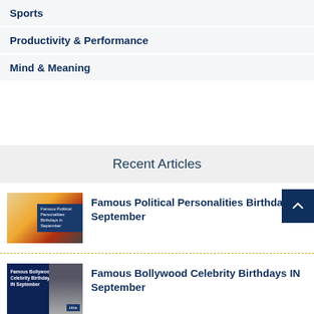Sports
Productivity & Performance
Mind & Meaning
Recent Articles
Famous Political Personalities Birthdays in September
Famous Bollywood Celebrity Birthdays IN September